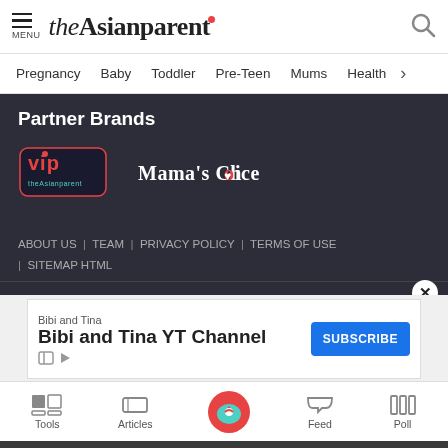theAsianparent — MENU, Search icon
Pregnancy | Baby | Toddler | Pre-Teen | Mums | Health >
Partner Brands
[Figure (logo): VIP logo in red and teal]
[Figure (logo): Mama's Choice logo in white with pink heart]
ABOUT US | TEAM | PRIVACY POLICY | TERMS OF USE | SITEMAP HTML
[Figure (screenshot): Bibi and Tina YT Channel advertisement with blue Subscribe button]
Tools | Articles | [Home icon] | Feed | Poll
We use cookies to ensure you get the best experience.
Learn More   Ok, Got it